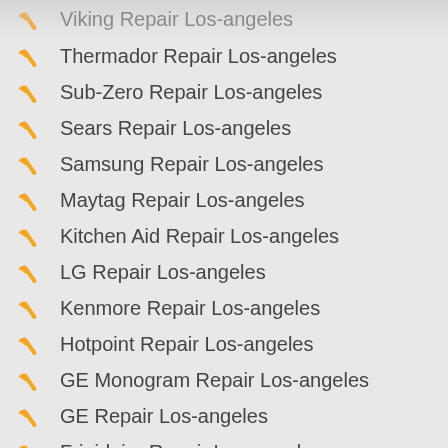Viking Repair Los-angeles
Thermador Repair Los-angeles
Sub-Zero Repair Los-angeles
Sears Repair Los-angeles
Samsung Repair Los-angeles
Maytag Repair Los-angeles
Kitchen Aid Repair Los-angeles
LG Repair Los-angeles
Kenmore Repair Los-angeles
Hotpoint Repair Los-angeles
GE Monogram Repair Los-angeles
GE Repair Los-angeles
Frigidaire Repair Los-angeles
Dacor Repair Los-angeles
Bosch Repair Los-angeles